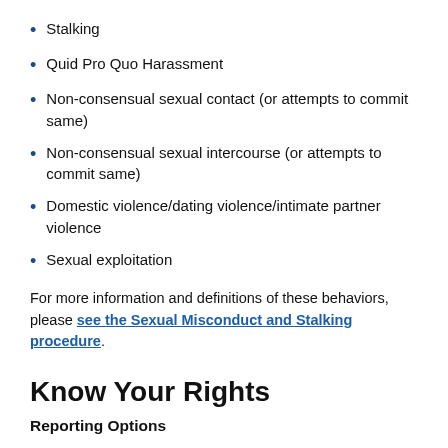Stalking
Quid Pro Quo Harassment
Non-consensual sexual contact (or attempts to commit same)
Non-consensual sexual intercourse (or attempts to commit same)
Domestic violence/dating violence/intimate partner violence
Sexual exploitation
For more information and definitions of these behaviors, please see the Sexual Misconduct and Stalking procedure.
Know Your Rights
Reporting Options